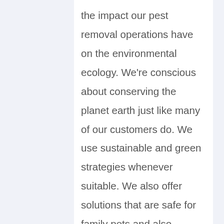the impact our pest removal operations have on the environmental ecology. We're conscious about conserving the planet earth just like many of our customers do. We use sustainable and green strategies whenever suitable. We also offer solutions that are safe for family pets and also youngsters, that are safe for some medical conditions, and also take note of the demands of sensitive locations (such as at doctor's offices, old folks homes, schools, and more).